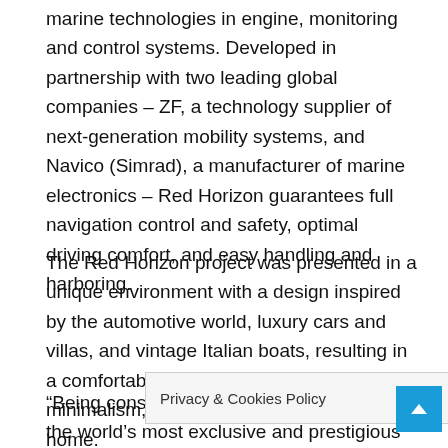marine technologies in engine, monitoring and control systems. Developed in partnership with two leading global companies – ZF, a technology supplier of next-generation mobility systems, and Navico (Simrad), a manufacturer of marine electronics – Red Horizon guarantees full navigation control and safety, optimal driving comfort, and easy handling and harboring.
The Red Horizon project was presented in a unique environment with a design inspired by the automotive world, luxury cars and villas, and vintage Italian boats, resulting in a comfortable bridge with a touch of minimalism, where customers can feel at home.
“Being consecutively recognized by two of the world’s most exclusive and prestigious Design Awards is a testament to the excellent work and focused dedication of the team of designers,” comments Gu... rine Ma... Segment Director for FPT... roud that